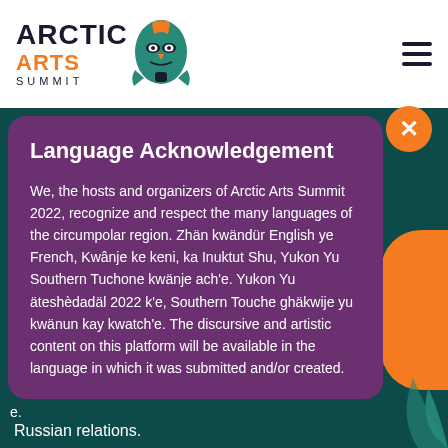[Figure (logo): Arctic Arts Summit logo with stylized totem mask and text 'ARCTIC ARTS SUMMIT']
Language Acknowledgement
We, the hosts and organizers of Arctic Arts Summit 2022, recognize and respect the many languages of the circumpolar region. Zhän kwändür English ye French, Kwânje ke keni, ka Inuktut Shu, Yukon Yu Southern Tuchone kwänje ach'e. Yukon Yu äteshèdadäl 2022 k'e, Southern Touche ghäkwije yu kwänun kay kwatch'e. The discursive and artistic content on this platform will be available in the language in which it was submitted and/or created.
Russian relations.